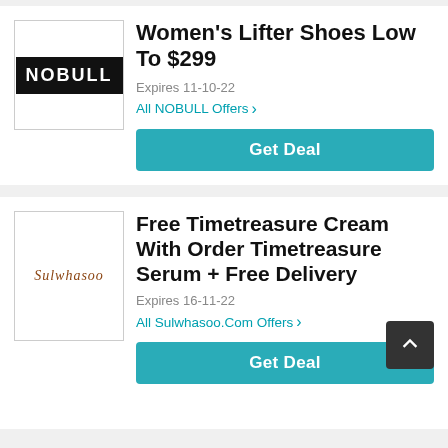Women's Lifter Shoes Low To $299
Expires 11-10-22
All NOBULL Offers >
Get Deal
Free Timetreasure Cream With Order Timetreasure Serum + Free Delivery
Expires 16-11-22
All Sulwhasoo.Com Offers >
Get Deal